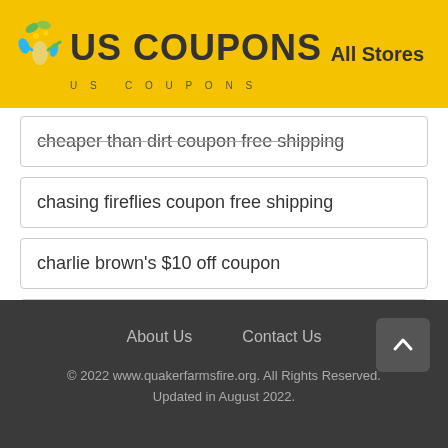US COUPONS   All Stores
cheaper than dirt coupon free shipping
chasing fireflies coupon free shipping
charlie brown's $10 off coupon
char broil free shipping code
About Us   Contact Us   © 2022 www.quakerfarmsfire.org. All Rights Reserved. Updated in August 2022.